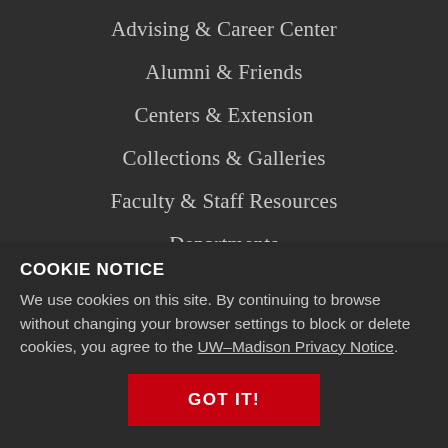Advising & Career Center
Alumni & Friends
Centers & Extension
Collections & Galleries
Faculty & Staff Resources
Departments
Download Logos
COOKIE NOTICE
We use cookies on this site. By continuing to browse without changing your browser settings to block or delete cookies, you agree to the UW–Madison Privacy Notice.
GOT IT!